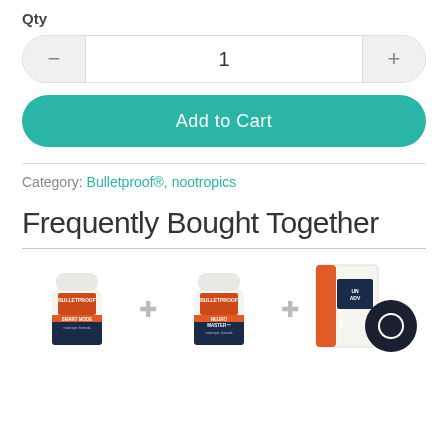Qty
1
Add to Cart
Category: Bulletproof®, nootropics
Frequently Bought Together
[Figure (photo): Three Bulletproof product images (Smart Mode pill bottle, Neuro Master pill bottle, Unstoppable Adventurer box with black object) separated by plus signs, showing frequently bought together products]